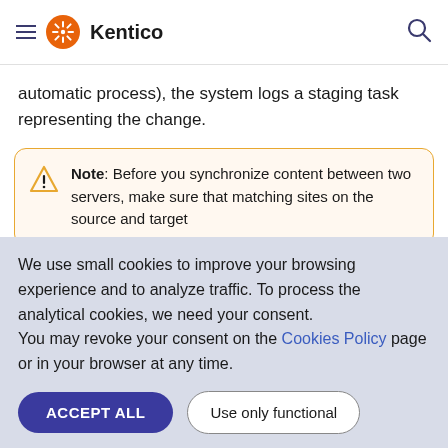Kentico
automatic process), the system logs a staging task representing the change.
Note: Before you synchronize content between two servers, make sure that matching sites on the source and target
We use small cookies to improve your browsing experience and to analyze traffic. To process the analytical cookies, we need your consent.
You may revoke your consent on the Cookies Policy page or in your browser at any time.